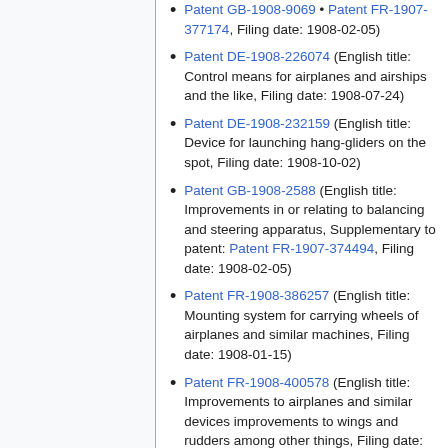Patent GB-1908-9069 • Patent FR-1907-377174, Filing date: 1908-02-05)
Patent DE-1908-226074 (English title: Control means for airplanes and airships and the like, Filing date: 1908-07-24)
Patent DE-1908-232159 (English title: Device for launching hang-gliders on the spot, Filing date: 1908-10-02)
Patent GB-1908-2588 (English title: Improvements in or relating to balancing and steering apparatus, Supplementary to patent: Patent FR-1907-374494, Filing date: 1908-02-05)
Patent FR-1908-386257 (English title: Mounting system for carrying wheels of airplanes and similar machines, Filing date: 1908-01-15)
Patent FR-1908-400578 (English title: Improvements to airplanes and similar devices improvements to wings and rudders among other things, Filing date: 1908-06-11)
Patent CH-1908-44159 (English title: Device for the control of several rudders, in submarines, airships and aviation devices...